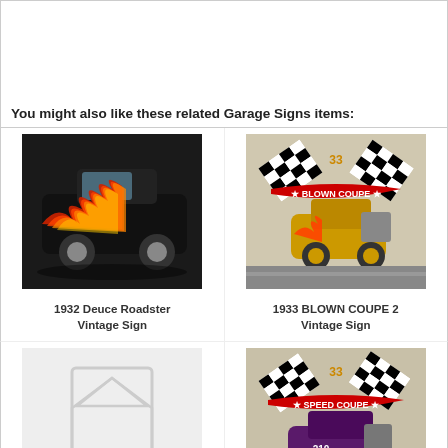You might also like these related Garage Signs items:
[Figure (photo): 1932 Deuce Roadster hot rod car with flames on black background]
[Figure (photo): 1933 Blown Coupe vintage sign with checkered flags and golden hot rod car]
1932 Deuce Roadster Vintage Sign
1933 BLOWN COUPE 2 Vintage Sign
[Figure (photo): Placeholder image with light gray background and outline icon]
[Figure (photo): 1933 Speed Coupe vintage sign with checkered flags and purple hot rod car]